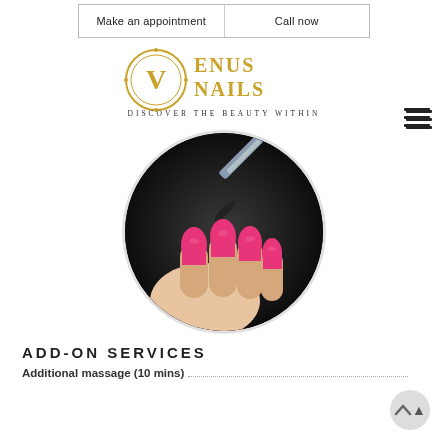Make an appointment | Call now
[Figure (logo): Venus Nails logo with ornate golden V emblem and tagline 'DISCOVER THE BEAUTY WITHIN']
[Figure (photo): Circular photo of a hand with hot pink/magenta nails being painted with a nail brush on dark background]
ADD-ON SERVICES
Additional massage (10 mins)